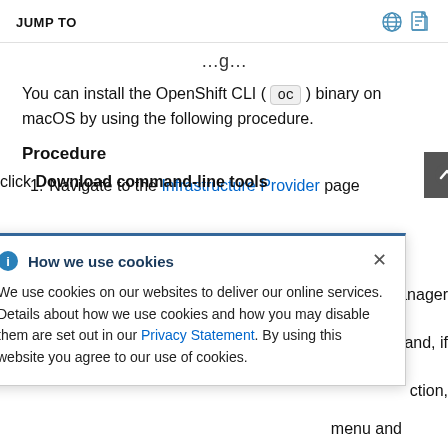JUMP TO
You can install the OpenShift CLI ( oc ) binary on macOS by using the following procedure.
Procedure
1. Navigate to the Infrastructure Provider page
[Figure (other): Cookie consent popup overlay reading: 'How we use cookies — We use cookies on our websites to deliver our online services. Details about how we use cookies and how you may disable them are set out in our Privacy Statement. By using this website you agree to our use of cookies.']
click Download command-line tools